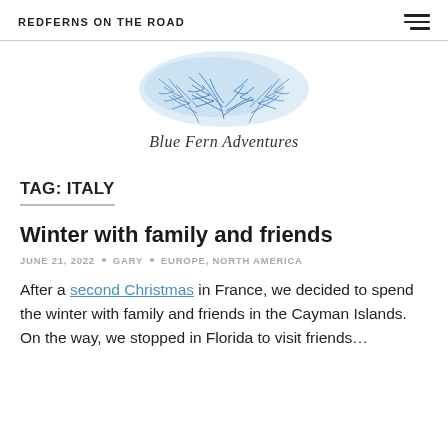REDFERNS ON THE ROAD
[Figure (logo): Blue Fern Adventures logo with watercolor blue fern fronds and cursive script text reading 'Blue Fern Adventures']
TAG: ITALY
Winter with family and friends
JUNE 21, 2022 • GARY • EUROPE, NORTH AMERICA
After a second Christmas in France, we decided to spend the winter with family and friends in the Cayman Islands. On the way, we stopped in Florida to visit friends…